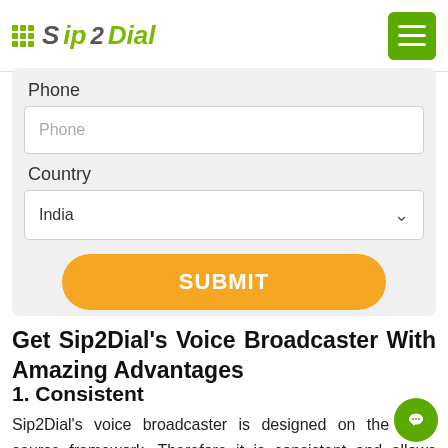Sip2Dial
Phone
Phone (input field)
Country
India
SUBMIT
Get Sip2Dial's Voice Broadcaster With Amazing Advantages
1. Consistent
Sip2Dial's voice broadcaster is designed on the open source framework. Therefore it is consistent and allows businesses to add new features to it as per their requirements. When voice broadcaster is